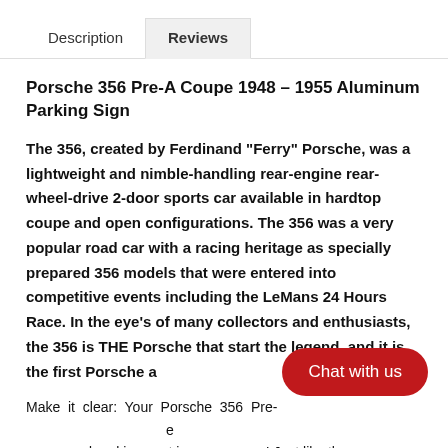Description | Reviews
Porsche 356 Pre-A Coupe 1948 – 1955 Aluminum Parking Sign
The 356, created by Ferdinand "Ferry" Porsche, was a lightweight and nimble-handling rear-engine rear-wheel-drive 2-door sports car available in hardtop coupe and open configurations. The 356 was a very popular road car with a racing heritage as specially prepared 356 models that were entered into competitive events including the LeMans 24 Hours Race. In the eye's of many collectors and enthusiasts, the 356 is THE Porsche that start the legend, and it is the first Porsche a
Make it clear: Your Porsche 356 Pre-A... a reserved parking spot in your garage! Just like the